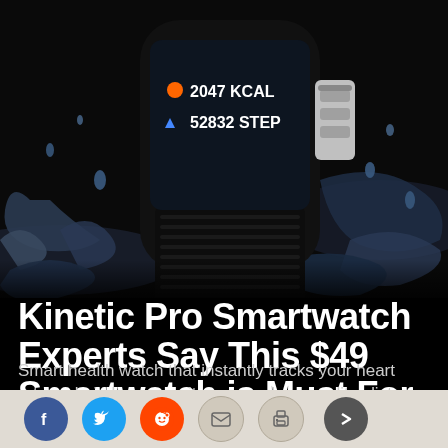[Figure (photo): Close-up photo of a black smartwatch/fitness tracker showing '2047 KCAL' and '52832 STEP' on its display, with water splashing around it on a dark background.]
Kinetic Pro Smartwatch Experts Say This $49 Smartwatch is Must For Seniors
Smart health watch that instantly tracks your heart rate, calorie burn, monitors your sleep quality, distance traveled, and makes you more active.